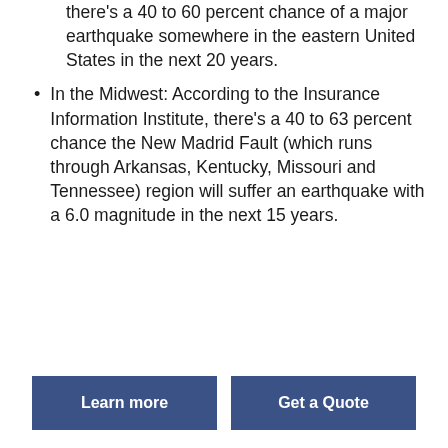there's a 40 to 60 percent chance of a major earthquake somewhere in the eastern United States in the next 20 years.
In the Midwest: According to the Insurance Information Institute, there's a 40 to 63 percent chance the New Madrid Fault (which runs through Arkansas, Kentucky, Missouri and Tennessee) region will suffer an earthquake with a 6.0 magnitude in the next 15 years.
Learn more
Get a Quote